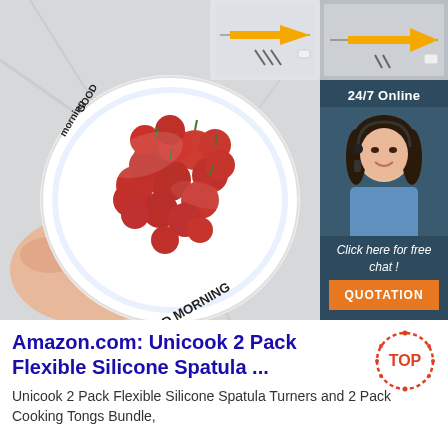[Figure (photo): Photo of a hand holding a white plate covered with plastic wrap, containing red cherry tomatoes. The plate has 'GOOD MORNING' text. Background is a white marble surface. In the top right corner there is a product image showing a drawer being opened with an orange arrow.]
[Figure (infographic): Advertisement banner with dark blue background. Top shows '24/7 Online' text. Middle shows photo of a smiling woman with headset. Bottom text says 'Click here for free chat!' with an orange 'QUOTATION' button.]
Amazon.com: Unicook 2 Pack Flexible Silicone Spatula ...
Unicook 2 Pack Flexible Silicone Spatula Turners and 2 Pack Cooking Tongs Bundle,